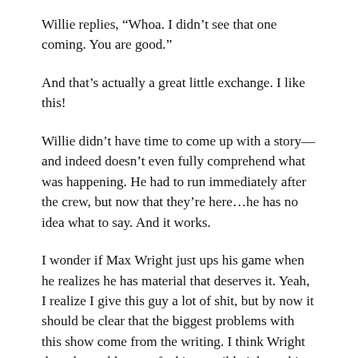Willie replies, “Whoa. I didn’t see that one coming. You are good.”
And that’s actually a great little exchange. I like this!
Willie didn’t have time to come up with a story—and indeed doesn’t even fully comprehend what was happening. He had to run immediately after the crew, but now that they’re here…he has no idea what to say. And it works.
I wonder if Max Wright just ups his game when he realizes he has material that deserves it. Yeah, I realize I give this guy a lot of shit, but by now it should be clear that the biggest problems with this show come from the writing. I think Wright does, by and large, a fucking terrible job on this show, but it’s not as though the material deserves much more.